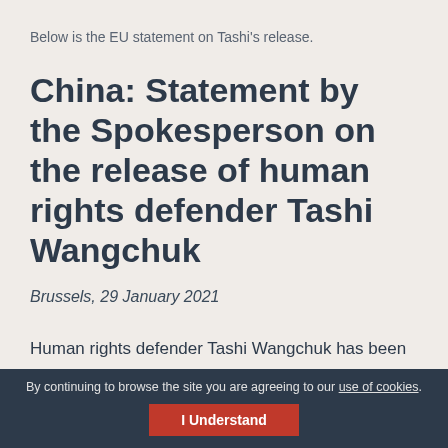Below is the EU statement on Tashi's release.
China: Statement by the Spokesperson on the release of human rights defender Tashi Wangchuk
Brussels, 29 January 2021
Human rights defender Tashi Wangchuk has been released from prison in China, after serving a five-year prison sentence linked to his peaceful advocacy for Tibetan
By continuing to browse the site you are agreeing to our use of cookies. I Understand